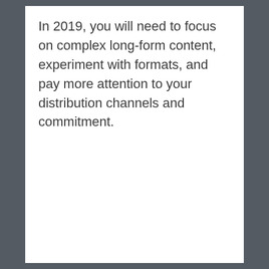In 2019, you will need to focus on complex long-form content, experiment with formats, and pay more attention to your distribution channels and commitment.